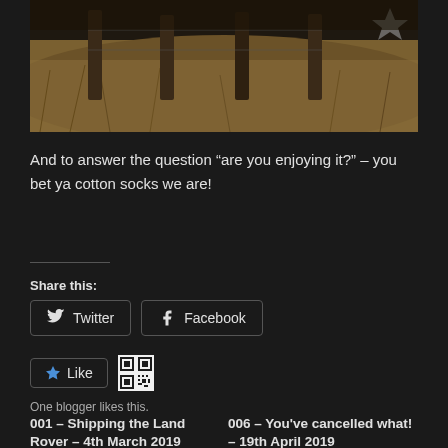[Figure (photo): Outdoor photo showing wooden fence posts and dry grass/scrubland ground, with partial view of a wire fence. Dark, wintry scene.]
And to answer the question “are you enjoying it?” – you bet ya cotton socks we are!
Share this:
Twitter
Facebook
Like
One blogger likes this.
001 – Shipping the Land Rover – 4th March 2019
April 1, 2019
006 – You’ve cancelled what! – 19th April 2019
April 19, 2019